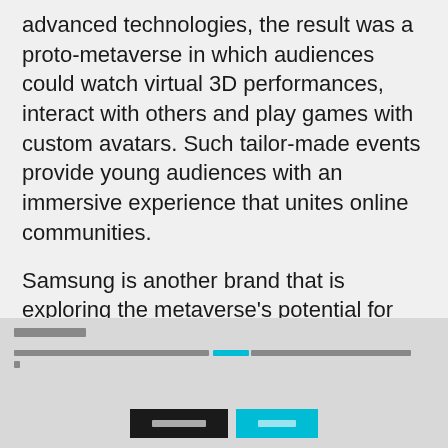advanced technologies, the result was a proto-metaverse in which audiences could watch virtual 3D performances, interact with others and play games with custom avatars. Such tailor-made events provide young audiences with an immersive experience that unites online communities.
Samsung is another brand that is exploring the metaverse's potential for creating diverse and targeted content to reach Gen Z and millennials. Their new virtual flagship store 'Samsung 837X' enables users to create their own avatars, collect NFT badges and virtual clothing, and participate in events like product launches. The metaverse allows them to enjoy a personal virtual
[redacted footer content with redacted link]